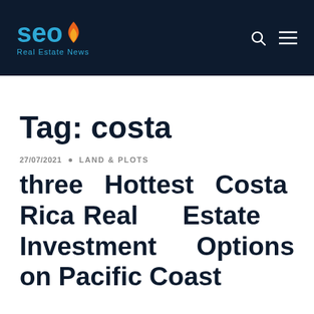SEON Real Estate News
Tag: costa
27/07/2021 • LAND & PLOTS
three Hottest Costa Rica Real Estate Investment Options on Pacific Coast